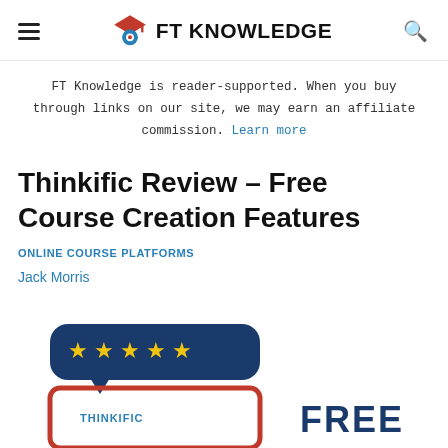FT KNOWLEDGE
FT Knowledge is reader-supported. When you buy through links on our site, we may earn an affiliate commission. Learn more
Thinkific Review – Free Course Creation Features
ONLINE COURSE PLATFORMS
Jack Morris
[Figure (illustration): Thinkific review promotional image with star rating badge and FREE text label]